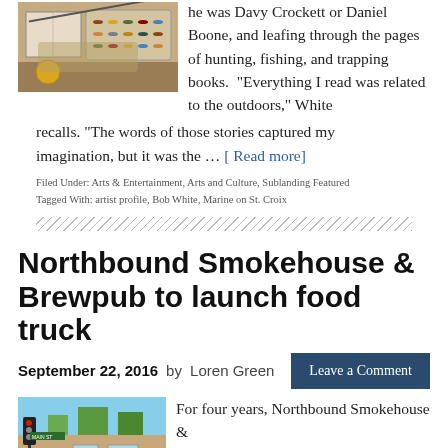[Figure (photo): Photo of fishing lures and flies in a tackle box on a wooden surface]
he was Davy Crockett or Daniel Boone, and leafing through the pages of hunting, fishing, and trapping books. “Everything I read was related to the outdoors,” White recalls. “The words of those stories captured my imagination, but it was the … [ Read more]
Filed Under: Arts & Entertainment, Arts and Culture, Sublanding Featured
Tagged With: artist profile, Bob White, Marine on St. Croix
Northbound Smokehouse & Brewpub to launch food truck
September 22, 2016 by Loren Green
Leave a Comment
[Figure (photo): Street photo showing buildings and traffic light, presumably near Northbound Smokehouse location]
For four years, Northbound Smokehouse &